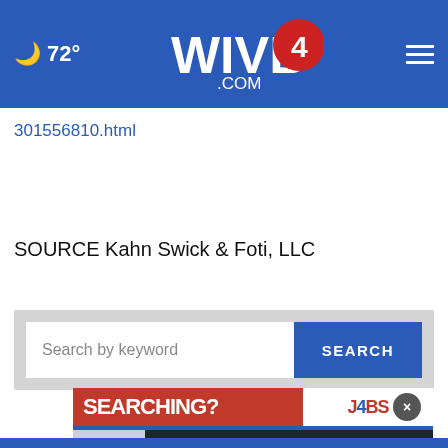72° WIVB4.COM
301556810.html
SOURCE Kahn Swick & Foti, LLC
[Figure (screenshot): Search bar with 'Search by keyword' placeholder text and a blue SEARCH button, on a light gray background]
[Figure (screenshot): Advertisement banner: 'SEARCHING? JOBS 4 BUFFALO' with a close (x) button, and below it a Vinyl Outlet 'Summer Fence SALE SAVE UP TO 20% OFF' ad with 'Call Now to Save!' CTA button]